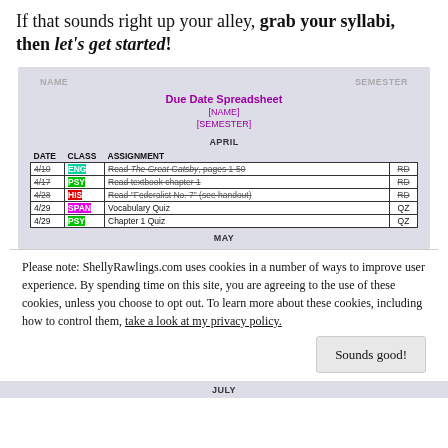If that sounds right up your alley, grab your syllabi, then let's get started!
[Figure (other): Due Date Spreadsheet template showing a table with DATE, CLASS, ASSIGNMENT columns. Contains April entries: 4/10 ENG Read The Great Gatsby pages 1-50 RD (strikethrough), 4/17 PSY Read textbook chapter 1 RD (strikethrough), 4/28 HIS Read Federalist No. 7 (see handout) RD (strikethrough), 4/29 SPAN Vocabulary Quiz QZ, 4/29 PSY Chapter 1 Quiz QZ. Also shows MAY and JULY section headers.]
Please note: ShellyRawlings.com uses cookies in a number of ways to improve user experience. By spending time on this site, you are agreeing to the use of these cookies, unless you choose to opt out. To learn more about these cookies, including how to control them, take a look at my privacy policy.